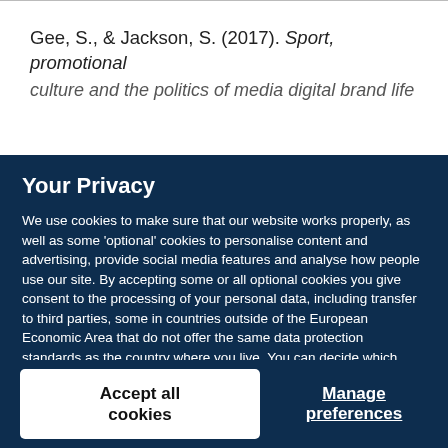Gee, S., & Jackson, S. (2017). Sport, promotional culture and the politics of media...
Your Privacy
We use cookies to make sure that our website works properly, as well as some 'optional' cookies to personalise content and advertising, provide social media features and analyse how people use our site. By accepting some or all optional cookies you give consent to the processing of your personal data, including transfer to third parties, some in countries outside of the European Economic Area that do not offer the same data protection standards as the country where you live. You can decide which optional cookies to accept by clicking on 'Manage Settings', where you can also find more information about how your personal data is processed. Further information can be found in our privacy policy.
Accept all cookies
Manage preferences